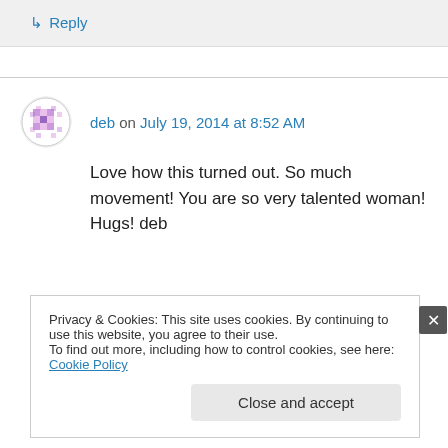↳ Reply
deb on July 19, 2014 at 8:52 AM
Love how this turned out. So much movement! You are so very talented woman! Hugs! deb
Privacy & Cookies: This site uses cookies. By continuing to use this website, you agree to their use.
To find out more, including how to control cookies, see here: Cookie Policy
Close and accept